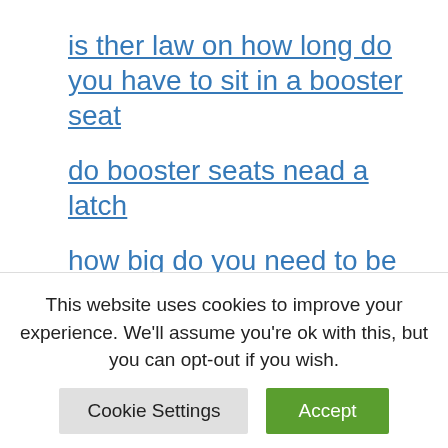is ther law on how long do you have to sit in a booster seat
do booster seats nead a latch
how big do you need to be before you don't need a booster seat
how long do kids have to be in a booster seat for?
how to make a chicco highchair to booster seat
This website uses cookies to improve your experience. We'll assume you're ok with this, but you can opt-out if you wish.
Cookie Settings | Accept